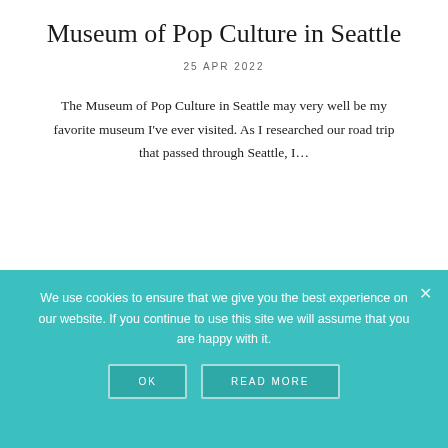Museum of Pop Culture in Seattle
25 APR 2022
The Museum of Pop Culture in Seattle may very well be my favorite museum I've ever visited. As I researched our road trip that passed through Seattle, I...
[Figure (infographic): Social share buttons: Twitter (blue), Pinterest (red, 58 pins), Facebook (blue), and shares count showing 58 SHARES]
[Figure (other): Empty rectangle outline, partially visible at bottom of main content area]
We use cookies to ensure that we give you the best experience on our website. If you continue to use this site we will assume that you are happy with it.
OK  READ MORE